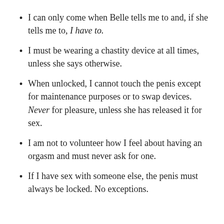I can only come when Belle tells me to and, if she tells me to, I have to.
I must be wearing a chastity device at all times, unless she says otherwise.
When unlocked, I cannot touch the penis except for maintenance purposes or to swap devices. Never for pleasure, unless she has released it for sex.
I am not to volunteer how I feel about having an orgasm and must never ask for one.
If I have sex with someone else, the penis must always be locked. No exceptions.